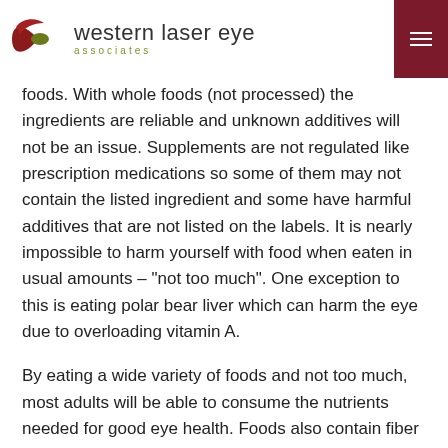western laser eye associates
foods. With whole foods (not processed) the ingredients are reliable and unknown additives will not be an issue. Supplements are not regulated like prescription medications so some of them may not contain the listed ingredient and some have harmful additives that are not listed on the labels. It is nearly impossible to harm yourself with food when eaten in usual amounts – "not too much". One exception to this is eating polar bear liver which can harm the eye due to overloading vitamin A.
By eating a wide variety of foods and not too much, most adults will be able to consume the nutrients needed for good eye health. Foods also contain fiber